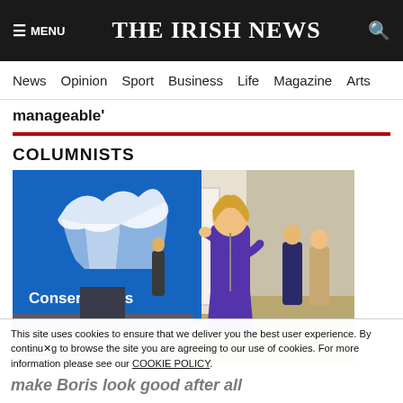≡ MENU   THE IRISH NEWS   🔍
News  Opinion  Sport  Business  Life  Magazine  Arts
manageable'
COLUMNISTS
[Figure (photo): A woman in a purple dress speaking at a Conservative Party event, standing in front of a blue 'Conservatives' banner/sign, with people standing in the background in what appears to be a meeting room or hall.]
This site uses cookies to ensure that we deliver you the best user experience. By continuing to browse the site you are agreeing to our use of cookies. For more information please see our COOKIE POLICY.
make Boris look good after all